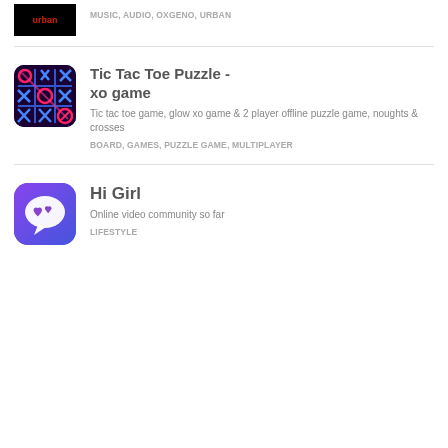[Figure (screenshot): App icon for music/audio app - dark background with red 'urban' text]
MUSIC, AUDIO, OXGENO, URBAN
[Figure (screenshot): Tic Tac Toe Puzzle game icon - neon glowing XO game board on dark background]
Tic Tac Toe Puzzle - xo game
Tic tac toe game, glow xo game & 2 player offline puzzle game, noughts & crosses
BOARD, GAMES, PUZZLE GAME, MULTIPLAYER
[Figure (screenshot): Hi Girl app icon - purple/blue rounded square with white speech bubble containing hearts]
Hi Girl
Online video community so far
LIFESTYLE